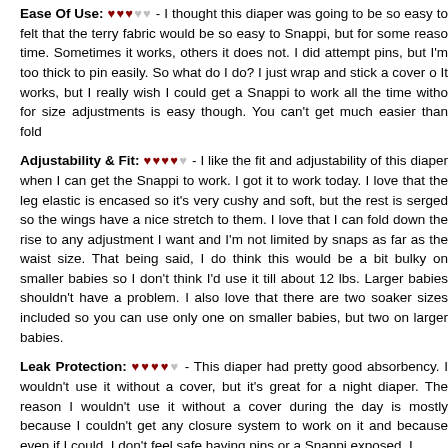Ease Of Use: ♥♥♥♡♡ - I thought this diaper was going to be so easy to felt that the terry fabric would be so easy to Snappi, but for some reason time. Sometimes it works, others it does not. I did attempt pins, but I'm too thick to pin easily. So what do I do? I just wrap and stick a cover o It works, but I really wish I could get a Snappi to work all the time witho for size adjustments is easy though. You can't get much easier than fold
Adjustability & Fit: ♥♥♥♥♡ - I like the fit and adjustability of this diaper when I can get the Snappi to work. I got it to work today. I love that the leg elastic is encased so it's very cushy and soft, but the rest is serged so the wings have a nice stretch to them. I love that I can fold down the rise to any adjustment I want and I'm not limited by snaps as far as the waist size. That being said, I do think this would be a bit bulky on smaller babies so I don't think I'd use it till about 12 lbs. Larger babies shouldn't have a problem. I also love that there are two soaker sizes included so you can use only one on smaller babies, but two on larger babies.
Leak Protection: ♥♥♥♥♡ - This diaper had pretty good absorbency. I wouldn't use it without a cover, but it's great for a night diaper. The reason I wouldn't use it without a cover during the day is mostly because I couldn't get any closure system to work on it and because even if I could, I don't feel safe having pins or a Snappi exposed. I